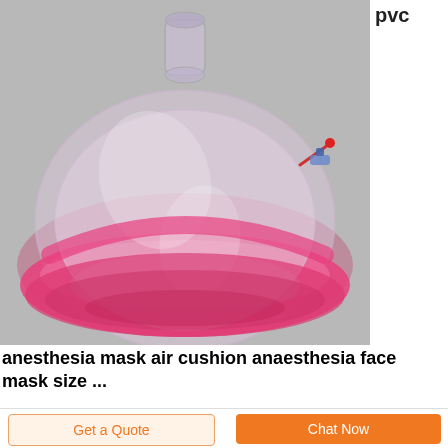[Figure (photo): A transparent PVC anesthesia face mask with pink/red air cushion rim and a small inflation valve port on the side, photographed on a grey background.]
pvc
anesthesia mask air cushion anaesthesia face mask size ...
Get a Quote
Chat Now